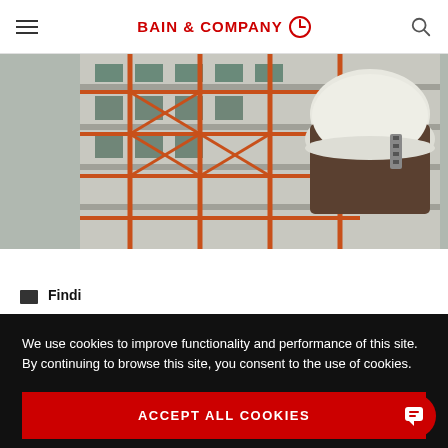BAIN & COMPANY
[Figure (photo): Construction worker wearing a white hard hat viewed from behind, with orange scaffolding and a concrete building under construction in the background]
We use cookies to improve functionality and performance of this site. By continuing to browse this site, you consent to the use of cookies.
ACCEPT ALL COOKIES
Manage cookie settings ▶